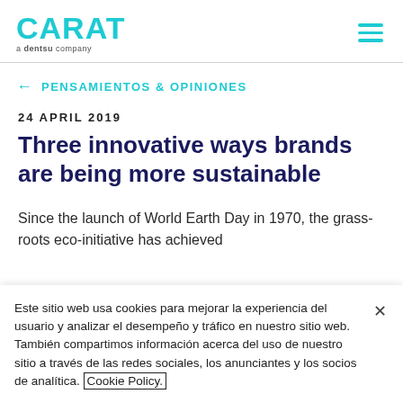CARAT a dentsu company
← PENSAMIENTOS & OPINIONES
24 APRIL 2019
Three innovative ways brands are being more sustainable
Since the launch of World Earth Day in 1970, the grass-roots eco-initiative has achieved
Este sitio web usa cookies para mejorar la experiencia del usuario y analizar el desempeño y tráfico en nuestro sitio web. También compartimos información acerca del uso de nuestro sitio a través de las redes sociales, los anunciantes y los socios de analítica. Cookie Policy.